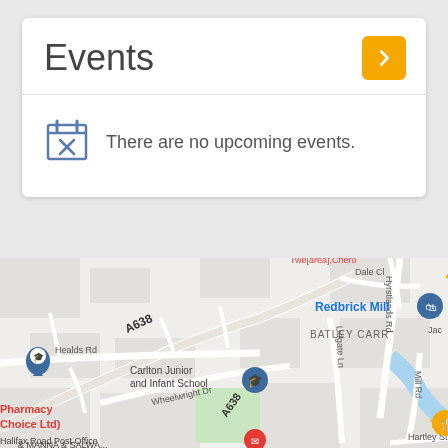Events
There are no upcoming events.
[Figure (map): Google Maps screenshot showing Batley Carr area with streets including A638, Healds Rd, Dale Cl, Hyrstlands Rd, Wheelwright Dr, Lidgate Ln, Mill Rd, Hartley St. Shows Carlton Junior and Infant School, Redbrick Mill, The Woodman Inn, Halifax Road Post Office & MANNA & SALWA..., Pharmacy Choice Ltd), and other local landmarks.]